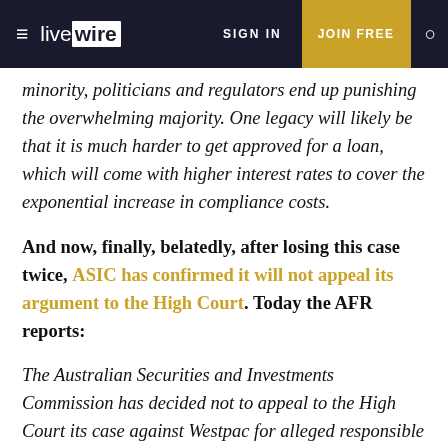livewire | SIGN IN | JOIN FREE
minority, politicians and regulators end up punishing the overwhelming majority. One legacy will likely be that it is much harder to get approved for a loan, which will come with higher interest rates to cover the exponential increase in compliance costs.
And now, finally, belatedly, after losing this case twice, ASIC has confirmed it will not appeal its argument to the High Court. Today the AFR reports:
The Australian Securities and Investments Commission has decided not to appeal to the High Court its case against Westpac for alleged responsible lending failures, after the heads of the Reserve Bank of Australia and Treasury both privately warned it would exacerbate economic uncertainty